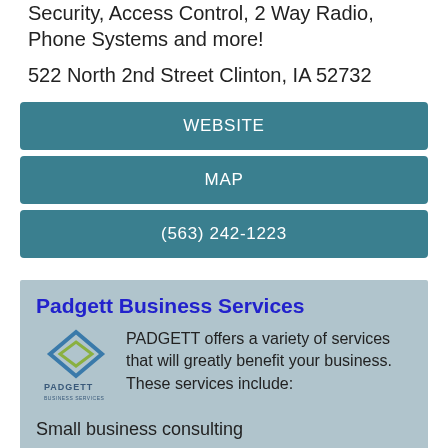Security, Access Control, 2 Way Radio, Phone Systems and more!
522 North 2nd Street Clinton, IA 52732
WEBSITE
MAP
(563) 242-1223
Padgett Business Services
PADGETT offers a variety of services that will greatly benefit your business. These services include:
Small business consulting
Complete payroll services
Tax preparation
Tax consulting